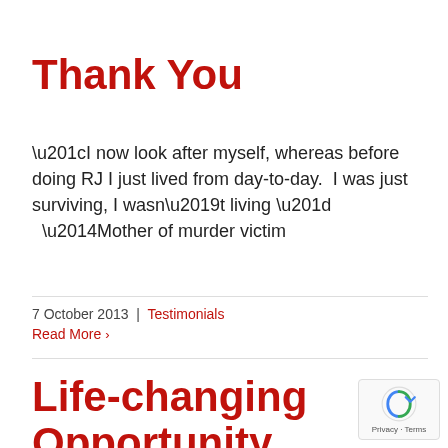Thank You
“I now look after myself, whereas before doing RJ I just lived from day-to-day.  I was just surviving, I wasn’t living ”   —Mother of murder victim
7 October 2013  |  Testimonials
Read More ›
Life-changing Opportunity